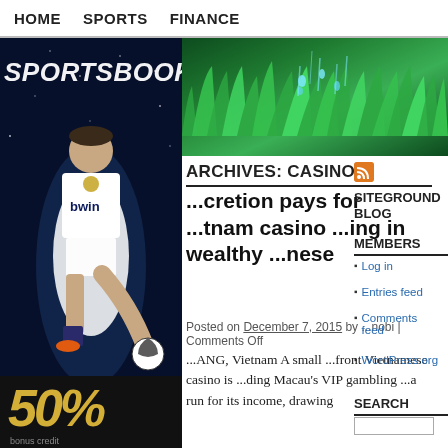HOME  SPORTS  FINANCE
[Figure (photo): Sportsbook advertisement banner showing a soccer player (wearing Real Madrid/bwin jersey) against a dark starry background, with '50%' text at the bottom in gold italic font]
[Figure (photo): Header image of green nature/grass with water droplets]
ARCHIVES: CASINO
...cretion pays for ...tnam casino ...ing in wealthy ...nese
Posted on December 7, 2015 by ...nobi | Comments Off
...ANG, Vietnam A small ...front Vietnamese casino is ...ding Macau's VIP gambling ...a run for its income, drawing
SITEGROUND BLOG
MEMBERS
Log in
Entries feed
Comments feed
WordPress.org
SEARCH